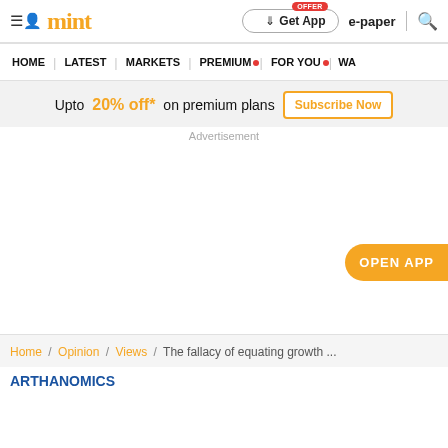mint | Get App | e-paper | search
HOME | LATEST | MARKETS | PREMIUM | FOR YOU | WA
Upto 20% off* on premium plans  Subscribe Now
Advertisement
OPEN APP
Home / Opinion / Views / The fallacy of equating growth ...
ARTHANOMICS